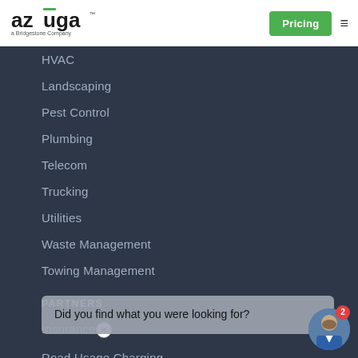[Figure (logo): Azuga logo — 'azūga™ a Bridgestone Company' in black and green with green bar over the u]
Pricing
HVAC
Landscaping
Pest Control
Plumbing
Telecom
Trucking
Utilities
Waste Management
Towing Management
PARTNERS
Insurance
Road Usage Charging
Marketplace
Did you find what you were looking for?